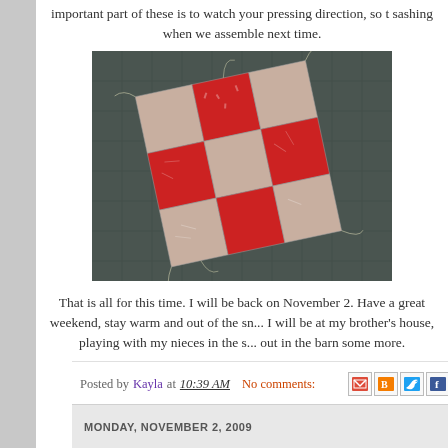important part of these is to watch your pressing direction, so that the seams nest with the sashing when we assemble next time.
[Figure (photo): A patchwork quilt block with alternating red/white patterned and cream/beige squares arranged in a checkerboard pattern, photographed on a dark cutting mat with loose threads visible]
That is all for this time. I will be back on November 2. Have a great weekend, stay warm and out of the sn... I will be at my brother's house, playing with my nieces in the s... out in the barn some more.
Posted by Kayla at 10:39 AM   No comments:   [share icons]
MONDAY, NOVEMBER 2, 2009